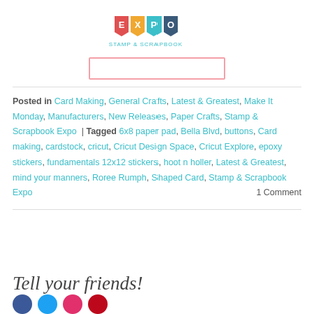[Figure (logo): Stamp & Scrapbook Expo logo with colorful pennant flags at top, with a rectangular banner outline below]
Posted in Card Making, General Crafts, Latest & Greatest, Make It Monday, Manufacturers, New Releases, Paper Crafts, Stamp & Scrapbook Expo | Tagged 6x8 paper pad, Bella Blvd, buttons, Card making, cardstock, cricut, Cricut Design Space, Cricut Explore, epoxy stickers, fundamentals 12x12 stickers, hoot n holler, Latest & Greatest, mind your manners, Roree Rumph, Shaped Card, Stamp & Scrapbook Expo    1 Comment
Tell your friends!